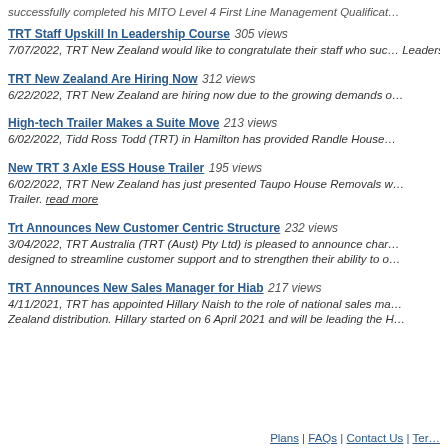successfully completed his MITO Level 4 First Line Management Qualificat…
TRT Staff Upskill In Leadership Course 305 views
7/07/2022, TRT New Zealand would like to congratulate their staff who suc… Leadership Training hosted by Best Practice Network. read more
TRT New Zealand Are Hiring Now 312 views
6/22/2022, TRT New Zealand are hiring now due to the growing demands o…
High-tech Trailer Makes a Suite Move 213 views
6/02/2022, Tidd Ross Todd (TRT) in Hamilton has provided Randle House…
New TRT 3 Axle ESS House Trailer 195 views
6/02/2022, TRT New Zealand has just presented Taupo House Removals w… Trailer. read more
Trt Announces New Customer Centric Structure 232 views
3/04/2022, TRT Australia (TRT (Aust) Pty Ltd) is pleased to announce char… designed to streamline customer support and to strengthen their ability to o…
TRT Announces New Sales Manager for Hiab 217 views
4/11/2021, TRT has appointed Hillary Naish to the role of national sales ma… Zealand distribution. Hillary started on 6 April 2021 and will be leading the H…
Plans | FAQs | Contact Us | Ter…